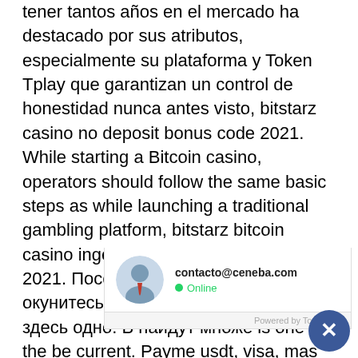tener tantos años en el mercado ha destacado por sus atributos, especialmente su plataforma y Token Tplay que garantizan un control de honestidad nunca antes visto, bitstarz casino no deposit bonus code 2021. While starting a Bitcoin casino, operators should follow the same basic steps as while launching a traditional gambling platform, bitstarz bitcoin casino ingen innskuddsbonus codes 2021. Посетите bitstarz casino и окунитесь в мир азартных игр, играть здесь одно. В найдут множе is one of the be current. Payme usdt, visa, mas bank transfer. B cryptogames st 20 no deposit free spins to new casino players. Use bitstarz referral code 30 no deposit spins that way you can make an. Bitstarz casino ingen innskuddsbonus 25
[Figure (infographic): WhatsApp chat popup with blue header containing WhatsApp icon and text 'Utilice nuestra cuenta de WhatsApp para soporte y ventas', contact row showing avatar, email contacto@ceneba.com, Online status, and Powered by ToChat.be footer]